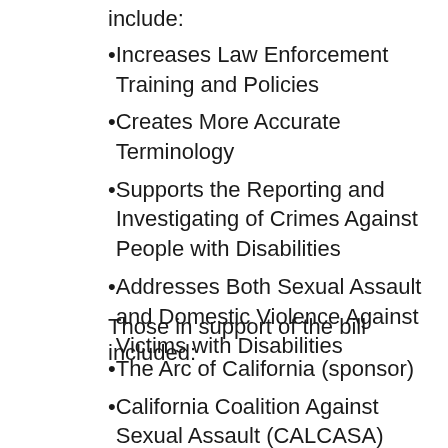include:
Increases Law Enforcement Training and Policies
Creates More Accurate Terminology
Supports the Reporting and Investigating of Crimes Against People with Disabilities
Addresses Both Sexual Assault and Domestic Violence Against Victims with Disabilities
Those in support of the bill included:
The Arc of California (sponsor)
California Coalition Against Sexual Assault (CALCASA)